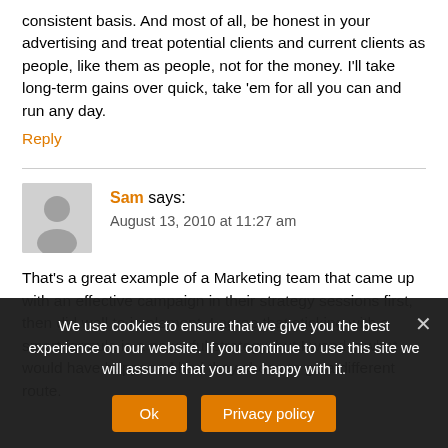consistent basis. And most of all, be honest in your advertising and treat potential clients and current clients as people, like them as people, not for the money. I'll take long-term gains over quick, take 'em for all you can and run any day.
Reply
Sam says:
August 13, 2010 at 11:27 am
That's a great example of a Marketing team that came up with an effective campaign in their strategy sessions first, then did well to implement. I agree that sticking with a smart formula is a powerful strategy, but I wonder what would have happened had they chose to go a different route.
We use cookies to ensure that we give you the best experience on our website. If you continue to use this site we will assume that you are happy with it.